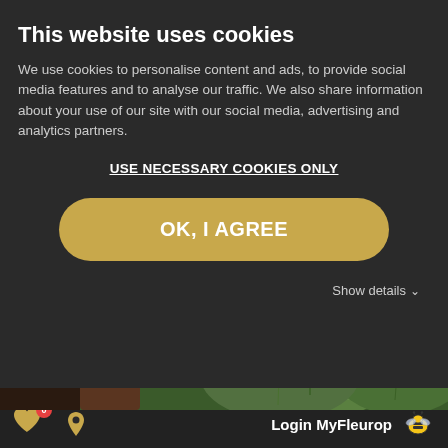This website uses cookies
We use cookies to personalise content and ads, to provide social media features and to analyse our traffic. We also share information about your use of our site with our social media, advertising and analytics partners.
USE NECESSARY COOKIES ONLY
OK, I AGREE
Show details
[Figure (photo): Close-up photo of green herbs and plants including thyme, rosemary, and leafy greens]
Today, the common thyme is the best known.
Login MyFleurop